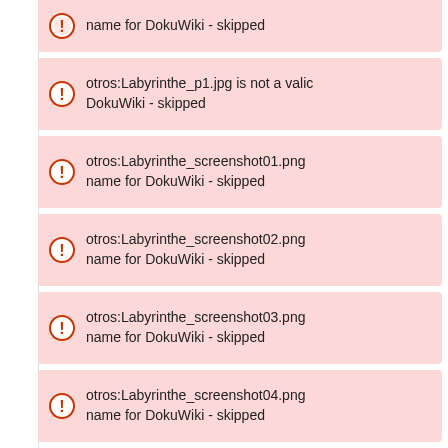name for DokuWiki - skipped
otros:Labyrinthe_p1.jpg is not a valid name for DokuWiki - skipped
otros:Labyrinthe_screenshot01.png is not a valid name for DokuWiki - skipped
otros:Labyrinthe_screenshot02.png is not a valid name for DokuWiki - skipped
otros:Labyrinthe_screenshot03.png is not a valid name for DokuWiki - skipped
otros:Labyrinthe_screenshot04.png is not a valid name for DokuWiki - skipped
otros:Master_Mind_sp.zip is not a valid name for DokuWiki - skipped
otros:Office_Battleships.zip is not a valid name for DokuWiki - skipped